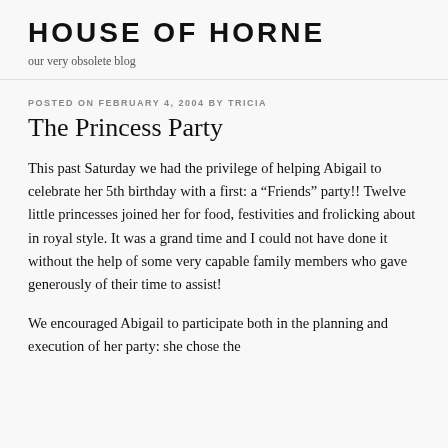HOUSE OF HORNE
our very obsolete blog
POSTED ON FEBRUARY 4, 2004 BY TRICIA
The Princess Party
This past Saturday we had the privilege of helping Abigail to celebrate her 5th birthday with a first: a “Friends” party!! Twelve little princesses joined her for food, festivities and frolicking about in royal style. It was a grand time and I could not have done it without the help of some very capable family members who gave generously of their time to assist!
We encouraged Abigail to participate both in the planning and execution of her party: she chose the